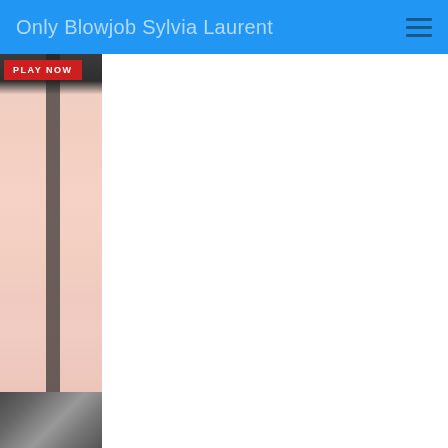Only Blowjob Sylvia Laurent
[Figure (photo): Thumbnail image showing legs in light pink stockings against dark background with a red PLAY NOW button overlay]
[Figure (photo): Small thumbnail image of a woman in a car scene]